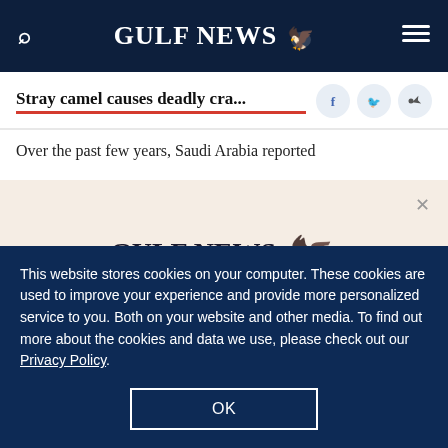GULF NEWS
Stray camel causes deadly cra...
Over the past few years, Saudi Arabia reported
[Figure (logo): Gulf News logo with eagle emblem and text 'A special offer for our readers' and 'Get the two years All-Access subscription now']
This website stores cookies on your computer. These cookies are used to improve your experience and provide more personalized service to you. Both on your website and other media. To find out more about the cookies and data we use, please check out our Privacy Policy.